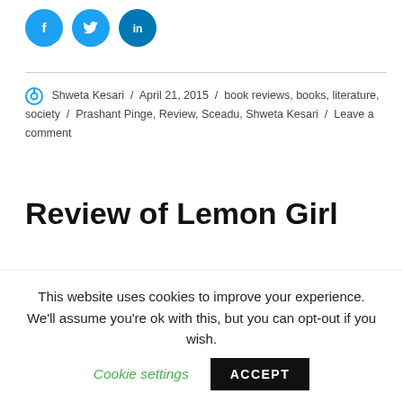[Figure (other): Social media share icons: Facebook (blue circle with f), Twitter (blue circle with bird), LinkedIn (blue circle with in)]
Shweta Kesari / April 21, 2015 / book reviews, books, literature, society / Prashant Pinge, Review, Sceadu, Shweta Kesari / Leave a comment
Review of Lemon Girl
Title: Lemon Girl
This website uses cookies to improve your experience. We'll assume you're ok with this, but you can opt-out if you wish. Cookie settings ACCEPT